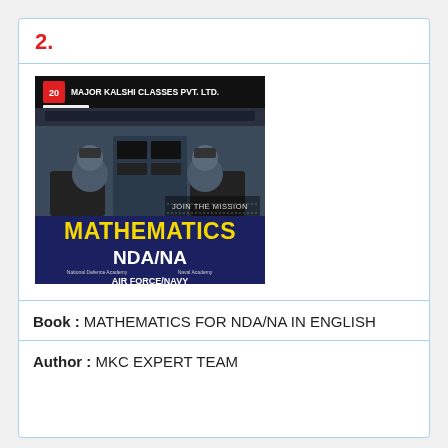2.
[Figure (photo): Book cover: Mathematics for NDA/NA by Major Kalshi Classes Pvt. Ltd. — shows two pilots in a cockpit, with 'MATHEMATICS NDA/NA Air Force/Navy' text on a blue background.]
Book : MATHEMATICS FOR NDA/NA IN ENGLISH
Author : MKC EXPERT TEAM